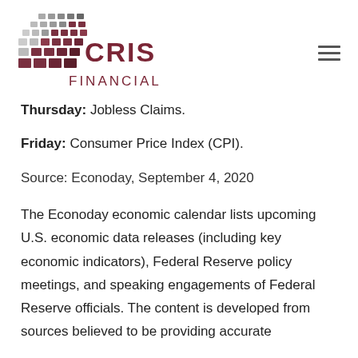[Figure (logo): CRIS Financial logo with checkered grid pattern above the text CRIS FINANCIAL in dark maroon/burgundy color]
Thursday: Jobless Claims.
Friday: Consumer Price Index (CPI).
Source: Econoday, September 4, 2020
The Econoday economic calendar lists upcoming U.S. economic data releases (including key economic indicators), Federal Reserve policy meetings, and speaking engagements of Federal Reserve officials. The content is developed from sources believed to be providing accurate